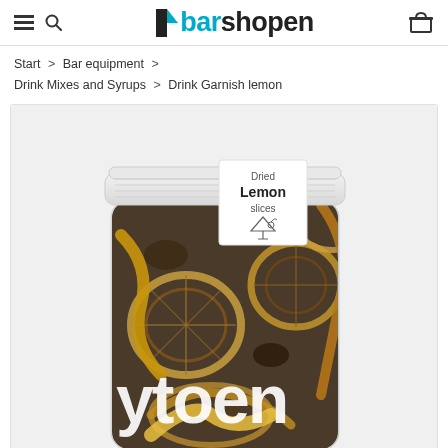barshopen
Start > Bar equipment > Drink Mixes and Syrups > Drink Garnish lemon
[Figure (photo): A glass jar with a white lid containing dried lemon slices. The jar has a label reading 'Dried Lemon slices' with a cocktail glass icon. The jar also shows partial text 'ytoen' on its body. Background is light grey.]